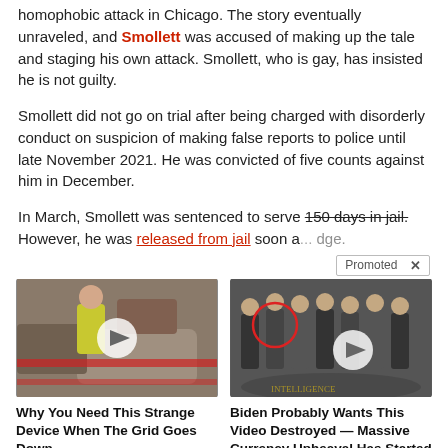homophobic attack in Chicago. The story eventually unraveled, and Smollett was accused of making up the tale and staging his own attack. Smollett, who is gay, has insisted he is not guilty.
Smollett did not go on trial after being charged with disorderly conduct on suspicion of making false reports to police until late November 2021. He was convicted of five counts against him in December.
In March, Smollett was sentenced to serve 150 days in jail. However, he was released from jail soon a[...] dge.
Promoted X
[Figure (photo): Photo of a person in a yellow vest near cars, with a play button overlay circle]
[Figure (photo): Photo of a group of men in suits standing in a formal setting, with a play button overlay circle]
Why You Need This Strange Device When The Grid Goes Down
🔥 1,439
Biden Probably Wants This Video Destroyed — Massive Currency Upheaval Has Started
🔥 98,619